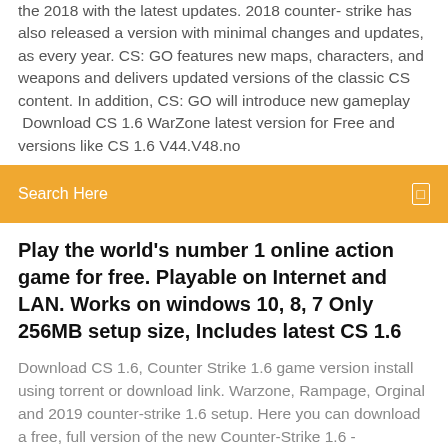the 2018 with the latest updates. 2018 counter-strike has also released a version with minimal changes and updates, as every year. CS: GO features new maps, characters, and weapons and delivers updated versions of the classic CS content. In addition, CS: GO will introduce new gameplay  Download CS 1.6 WarZone latest version for Free and versions like CS 1.6 V44.V48.no
[Figure (other): Orange search bar with text 'Search Here' and a small icon on the right]
Play the world's number 1 online action game for free. Playable on Internet and LAN. Works on windows 10, 8, 7 Only 256MB setup size, Includes latest CS 1.6
Download CS 1.6, Counter Strike 1.6 game version install using torrent or download link. Warzone, Rampage, Orginal and 2019 counter-strike 1.6 setup. Here you can download a free, full version of the new Counter-Strike 1.6 - WaRzOnE + bots. Has a large number of servers. ABOUT THE GAME Play the world's Download CS: Source for free. Based on the extremely popular